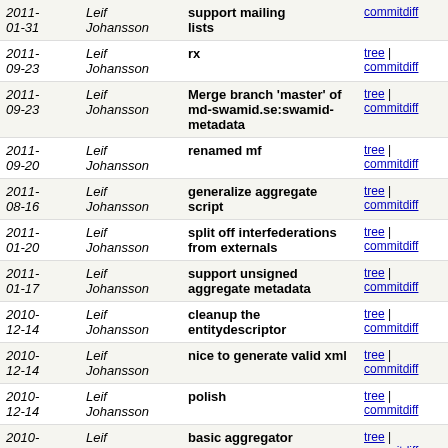| Date | Author | Description | Links |
| --- | --- | --- | --- |
| 2011-01-31 | Leif Johansson | support mailing lists | tree | commitdiff |
| 2011-09-23 | Leif Johansson | rx | tree | commitdiff |
| 2011-09-23 | Leif Johansson | Merge branch 'master' of md-swamid.se:swamid-metadata | tree | commitdiff |
| 2011-09-20 | Leif Johansson | renamed mf | tree | commitdiff |
| 2011-08-16 | Leif Johansson | generalize aggregate script | tree | commitdiff |
| 2011-01-20 | Leif Johansson | split off interfederations from externals | tree | commitdiff |
| 2011-01-17 | Leif Johansson | support unsigned aggregate metadata | tree | commitdiff |
| 2010-12-14 | Leif Johansson | cleanup the entitydescriptor | tree | commitdiff |
| 2010-12-14 | Leif Johansson | nice to generate valid xml | tree | commitdiff |
| 2010-12-14 | Leif Johansson | polish | tree | commitdiff |
| 2010-12-14 | Leif Johansson | basic aggregator | tree | commitdiff |
| 2010-07-15 | leifj | new publisher update script | tree | commitdiff |
| 2009-07-18 | leifj | small script to generate xs:datetime dates | tree | commitdiff |
| 2009- | leifj | swamid test sp | tree | commitdiff |